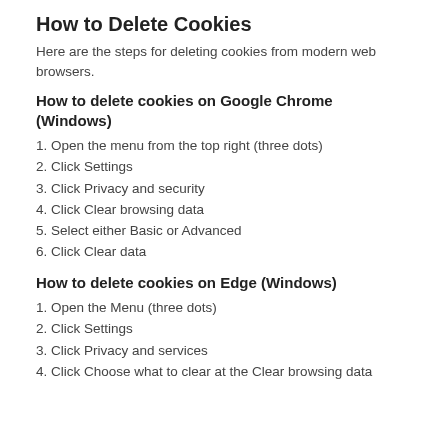How to Delete Cookies
Here are the steps for deleting cookies from modern web browsers.
How to delete cookies on Google Chrome (Windows)
1. Open the menu from the top right (three dots)
2. Click Settings
3. Click Privacy and security
4. Click Clear browsing data
5. Select either Basic or Advanced
6. Click Clear data
How to delete cookies on Edge (Windows)
1. Open the Menu (three dots)
2. Click Settings
3. Click Privacy and services
4. Click Choose what to clear at the Clear browsing data